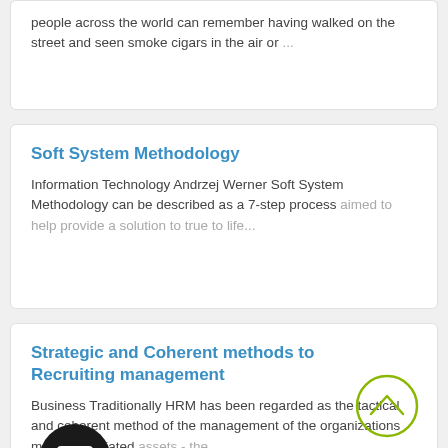people across the world can remember having walked on the street and seen smoke cigars in the air or...
Soft System Methodology
Information Technology Andrzej Werner Soft System Methodology can be described as a 7-step process aimed to help provide a solution to true to life...
Strategic and Coherent methods to Recruiting management
Business Traditionally HRM has been regarded as the tactical and coherent method of the management of the organizations most appreciated assets - the...